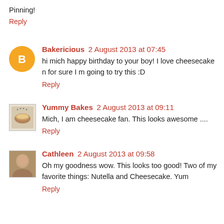Pinning!
Reply
Bakericious 2 August 2013 at 07:45
hi mich happy birthday to your boy! I love cheesecake n for sure I m going to try this :D
Reply
Yummy Bakes 2 August 2013 at 09:11
Mich, I am cheesecake fan. This looks awesome ....
Reply
Cathleen 2 August 2013 at 09:58
Oh my goodness wow. This looks too good! Two of my favorite things: Nutella and Cheesecake. Yum
Reply